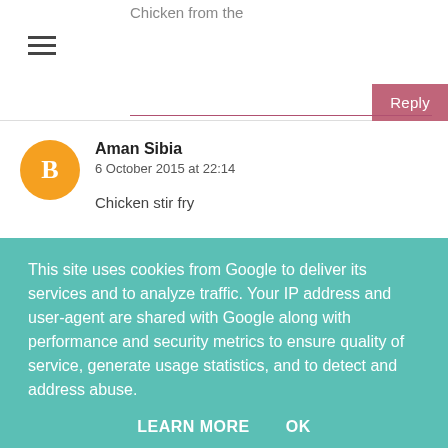Chicken from the
Reply
Aman Sibia
6 October 2015 at 22:14
Chicken stir fry
Reply
daviddavid
This site uses cookies from Google to deliver its services and to analyze traffic. Your IP address and user-agent are shared with Google along with performance and security metrics to ensure quality of service, generate usage statistics, and to detect and address abuse.
LEARN MORE    OK